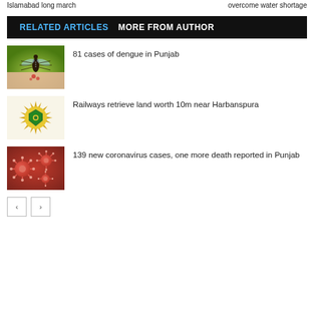Islamabad long march    overcome water shortage
RELATED ARTICLES   MORE FROM AUTHOR
[Figure (photo): Close-up photo of a mosquito feeding on skin]
81 cases of dengue in Punjab
[Figure (logo): Pakistan Railways logo - gold starburst with green shield]
Railways retrieve land worth 10m near Harbanspura
[Figure (photo): Coronavirus particles - red/pink cells on dark background]
139 new coronavirus cases, one more death reported in Punjab